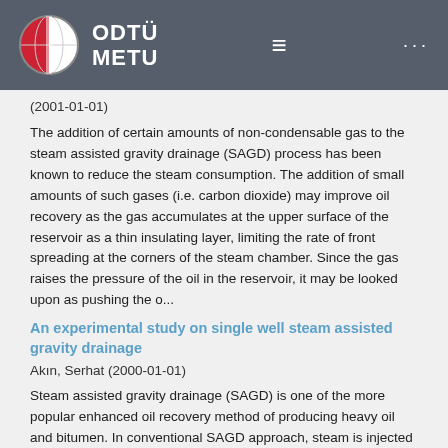ODTÜ METU
(2001-01-01)
The addition of certain amounts of non-condensable gas to the steam assisted gravity drainage (SAGD) process has been known to reduce the steam consumption. The addition of small amounts of such gases (i.e. carbon dioxide) may improve oil recovery as the gas accumulates at the upper surface of the reservoir as a thin insulating layer, limiting the rate of front spreading at the corners of the steam chamber. Since the gas raises the pressure of the oil in the reservoir, it may be looked upon as pushing the o...
An experimental study on single well steam assisted gravity drainage
Akın, Serhat (2000-01-01)
Steam assisted gravity drainage (SAGD) is one of the more popular enhanced oil recovery method of producing heavy oil and bitumen. In conventional SAGD approach, steam is injected into a horizontal well located above a horizontal producer. A steam chamber